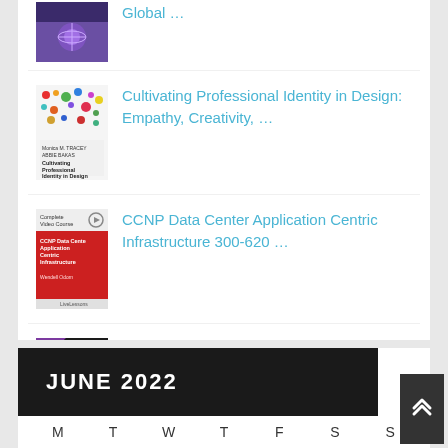Global …
Cultivating Professional Identity in Design: Empathy, Creativity, …
CCNP Data Center Application Centric Infrastructure 300-620 …
Rust Crash Course: Build High-Performance, Efficient and …
JUNE 2022
M  T  W  T  F  S  S